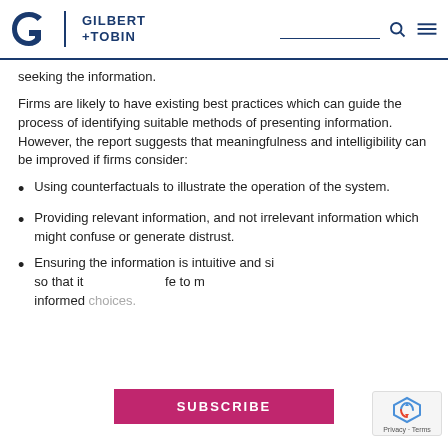Gilbert + Tobin
seeking the information.
Firms are likely to have existing best practices which can guide the process of identifying suitable methods of presenting information. However, the report suggests that meaningfulness and intelligibility can be improved if firms consider:
Using counterfactuals to illustrate the operation of the system.
Providing relevant information, and not irrelevant information which might confuse or generate distrust.
Ensuring the information is intuitive and simple so that it is safe to make informed choices.